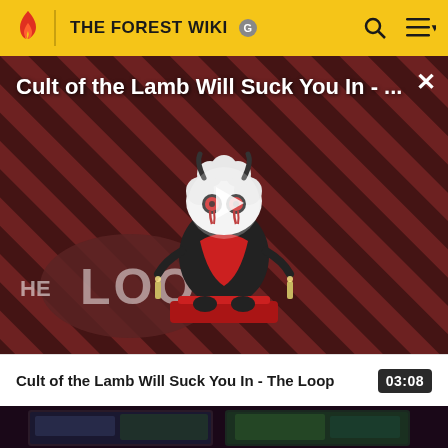THE FOREST WIKI
[Figure (screenshot): Video thumbnail for 'Cult of the Lamb Will Suck You In - The Loop' showing a cartoon lamb character on a red pedestal against a red and black diagonal striped background, with THE LOOP branding overlay and a play button in the center. A close (X) button appears in the top right.]
Cult of the Lamb Will Suck You In - The Loop	03:08
[Figure (screenshot): Bottom portion showing two dark video thumbnails side by side, partially visible at the bottom of the page]